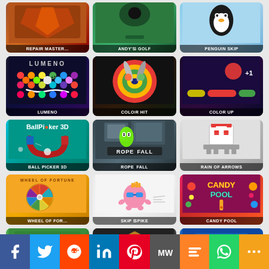[Figure (screenshot): Game thumbnail: Repair Master]
[Figure (screenshot): Game thumbnail: Andy's Golf]
[Figure (screenshot): Game thumbnail: Penguin Skip]
[Figure (screenshot): Game thumbnail: Lumeno]
[Figure (screenshot): Game thumbnail: Color Hit]
[Figure (screenshot): Game thumbnail: Color Up]
[Figure (screenshot): Game thumbnail: Ball Picker 3D]
[Figure (screenshot): Game thumbnail: Rope Fall]
[Figure (screenshot): Game thumbnail: Rain of Arrows]
[Figure (screenshot): Game thumbnail: Wheel of Fortune]
[Figure (screenshot): Game thumbnail: Skip Spike]
[Figure (screenshot): Game thumbnail: Candy Pool]
[Figure (screenshot): Partial game thumbnails row]
[Figure (infographic): Social media sharing bar: Facebook, Twitter, Reddit, LinkedIn, Pinterest, MeWe, Mix, WhatsApp, More]